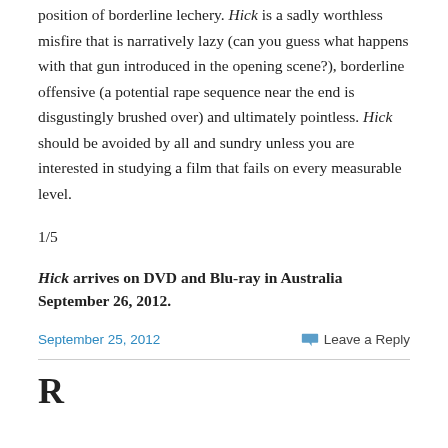position of borderline lechery. Hick is a sadly worthless misfire that is narratively lazy (can you guess what happens with that gun introduced in the opening scene?), borderline offensive (a potential rape sequence near the end is disgustingly brushed over) and ultimately pointless. Hick should be avoided by all and sundry unless you are interested in studying a film that fails on every measurable level.
1/5
Hick arrives on DVD and Blu-ray in Australia September 26, 2012.
September 25, 2012
Leave a Reply